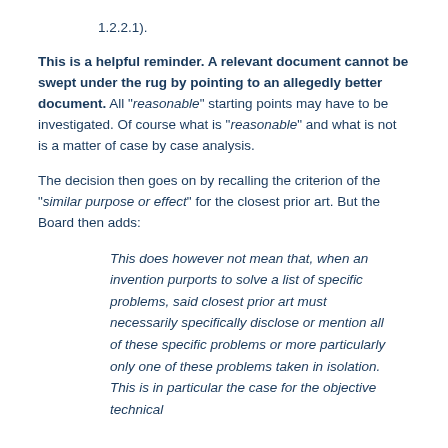1.2.2.1).
This is a helpful reminder. A relevant document cannot be swept under the rug by pointing to an allegedly better document. All "reasonable" starting points may have to be investigated. Of course what is "reasonable" and what is not is a matter of case by case analysis.
The decision then goes on by recalling the criterion of the "similar purpose or effect" for the closest prior art. But the Board then adds:
This does however not mean that, when an invention purports to solve a list of specific problems, said closest prior art must necessarily specifically disclose or mention all of these specific problems or more particularly only one of these problems taken in isolation. This is in particular the case for the objective technical